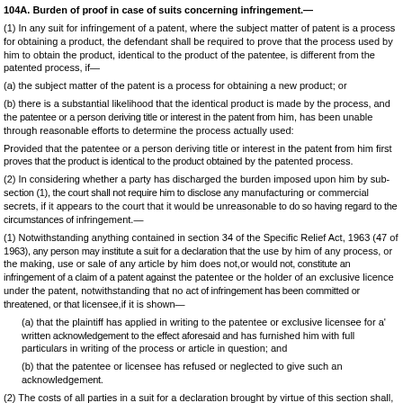104A. Burden of proof in case of suits concerning infringement.—
(1) In any suit for infringement of a patent, where the subject matter of patent is a process for obtaining a product, the defendant shall be required to prove that the process used by him to obtain the product, identical to the product of the patentee, is different from the patented process, if—
(a) the subject matter of the patent is a process for obtaining a new product; or
(b) there is a substantial likelihood that the identical product is made by the process, and the patentee or a person deriving title or interest in the patent from him, has been unable through reasonable efforts to determine the process actually used:
Provided that the patentee or a person deriving title or interest in the patent from him first proves that the product is identical to the product obtained by the patented process.
(2) In considering whether a party has discharged the burden imposed upon him by sub-section (1), the court shall not require him to disclose any manufacturing or commercial secrets, if it appears to the court that it would be unreasonable to do so having regard to the circumstances of infringement.—
(1) Notwithstanding anything contained in section 34 of the Specific Relief Act, 1963 (47 of 1963), any person may institute a suit for a declaration that the use by him of any process, or the making, use or sale of any article by him does not,or would not, constitute an infringement of a claim of a patent against the patentee or the holder of an exclusive licence under the patent, notwithstanding that no act of infringement has been committed or threatened, or that the patentee or exclusive licensee,if it is shown—
(a) that the plaintiff has applied in writing to the patentee or exclusive licensee for a' written acknowledgement to the effect aforesaid and has furnished him with full particulars in writing of the process or article in question; and
(b) that the patentee or licensee has refused or neglected to give such an acknowledgement.
(2) The costs of all parties in a suit for a declaration brought by virtue of this section shall, unless for special reasons the court thinks fit to order otherwise, be paid by the plaintiff.
(3) The validity of a claim of the specification of a patent shall not be called in question in a suit for a declaration under this section, and accordingly the making or refusal of such a declaration in the case of a patent shall not be deemed to imply that the patent is valid or invalid.
(4) A suit for a declaration may be brought by virtue of this section at any time after the publication of a grant of a patent, and references in this section to the patentee shall be construed accordingly.
106. Power of court to grant relief in cases of groundless threats of infringement proceedings.—
(1) Where any person (whether entitled to or interested in a patent or an application for patent or not) threatens any other person by circulars, advertisements or otherwise with proceedings for infringement of a patent, any person aggrieved thereby may bring a suit against him in the court praying for—